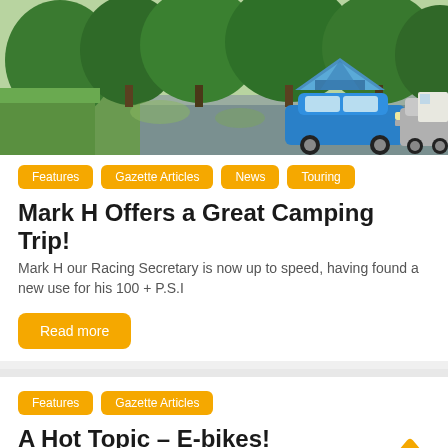[Figure (photo): Outdoor campsite scene showing a blue tent, a blue Peugeot 206 sports car, trees and grass, on a paved road]
Features
Gazette Articles
News
Touring
Mark H Offers a Great Camping Trip!
Mark H our Racing Secretary is now up to speed, having found a new use for his 100 + P.S.I
Read more
Features
Gazette Articles
A Hot Topic – E-bikes!
Not so long ago, E-bikes were frowned upon by serious